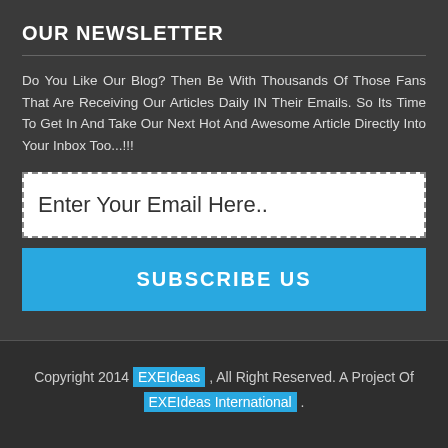OUR NEWSLETTER
Do You Like Our Blog? Then Be With Thousands Of Those Fans That Are Receiving Our Articles Daily IN Their Emails. So Its Time To Get In And Take Our Next Hot And Awesome Article Directly Into Your Inbox Too...!!!
[Figure (other): Email input field with dashed border and placeholder text 'Enter Your Email Here..']
[Figure (other): Blue subscribe button with text 'SUBSCRIBE US']
Copyright 2014 EXEIdeas , All Right Reserved. A Project Of EXEIdeas International .